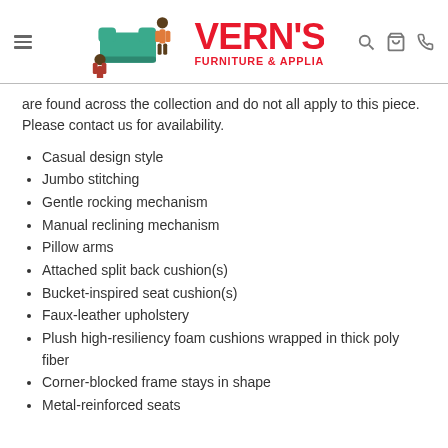Vern's Furniture & Appliances
are found across the collection and do not all apply to this piece. Please contact us for availability.
Casual design style
Jumbo stitching
Gentle rocking mechanism
Manual reclining mechanism
Pillow arms
Attached split back cushion(s)
Bucket-inspired seat cushion(s)
Faux-leather upholstery
Plush high-resiliency foam cushions wrapped in thick poly fiber
Corner-blocked frame stays in shape
Metal-reinforced seats